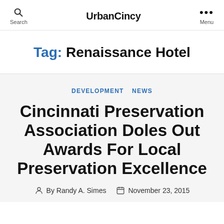UrbanCincy
Tag: Renaissance Hotel
DEVELOPMENT  NEWS
Cincinnati Preservation Association Doles Out Awards For Local Preservation Excellence
By Randy A. Simes   November 23, 2015